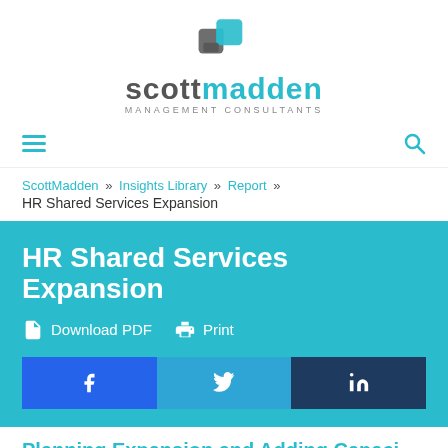[Figure (logo): ScottMadden Management Consultants logo with teal interlocking squares icon and company name]
Navigation bar with hamburger menu and search icon
ScottMadden » Insights Library » Report » HR Shared Services Expansion
HR Shared Services Expansion
Download PDF   Print
Facebook  Twitter  LinkedIn social share buttons
Planning Expansion and Adding Capacity